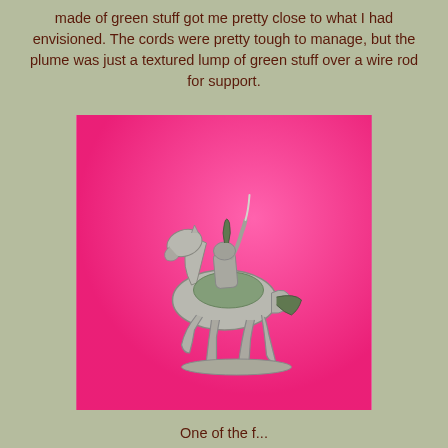made of green stuff got me pretty close to what I had envisioned. The cords were pretty tough to manage, but the plume was just a textured lump of green stuff over a wire rod for support.
[Figure (photo): A metal miniature figure of a cavalry soldier on horseback, unpainted/silver, photographed against a bright pink/magenta background.]
One of the f...